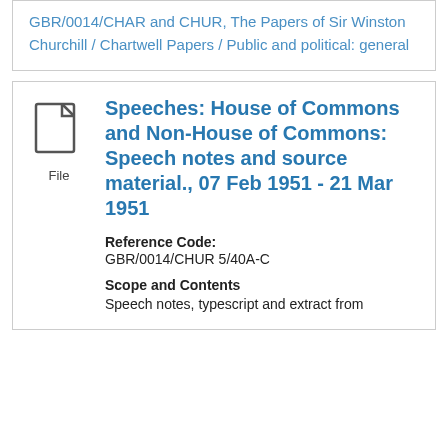GBR/0014/CHAR and CHUR, The Papers of Sir Winston Churchill / Chartwell Papers / Public and political: general
[Figure (illustration): Document file icon with 'File' label beneath it]
Speeches: House of Commons and Non-House of Commons: Speech notes and source material., 07 Feb 1951 - 21 Mar 1951
Reference Code: GBR/0014/CHUR 5/40A-C
Scope and Contents
Speech notes, typescript and extract from